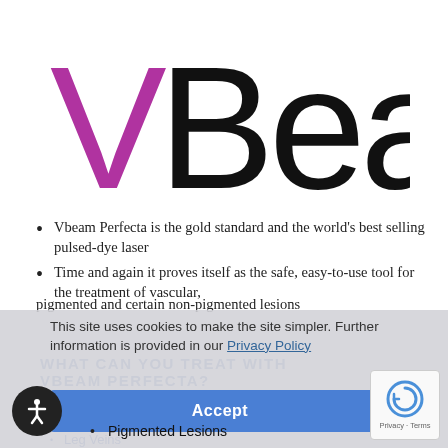[Figure (logo): VBeam logo with purple V and black 'Beam' text]
Vbeam Perfecta is the gold standard and the world's best selling pulsed-dye laser
Time and again it proves itself as the safe, easy-to-use tool for the treatment of vascular, pigmented and certain non-pigmented lesions
This site uses cookies to make the site simpler. Further information is provided in our Privacy Policy
WHAT CAN YOU TREAT WITH VBEAM PERFECTA?
Acne Scars
Facial & Spider Veins
Leg Veins
Pigmented Lesions